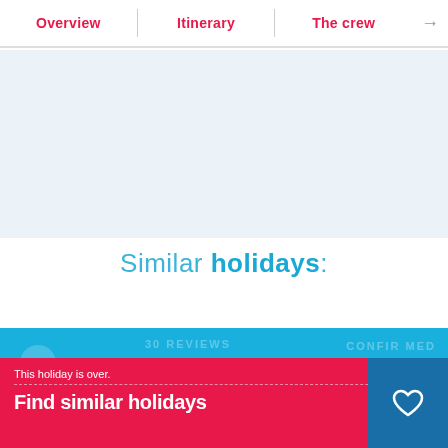Overview | Itinerary | The crew →
[Figure (photo): Light blue-grey placeholder image area]
Similar holidays:
[Figure (screenshot): Blue background section showing a holiday listing with '30 REVIEWS' and 'CONFIRMED' watermark text, person avatar circle, and a red promotional bar at the bottom reading 'This holiday is over.' and 'Find similar holidays' with a 'Contact the skipper' button and a heart/favorite button.]
This holiday is over.
Find similar holidays
Contact the skipper